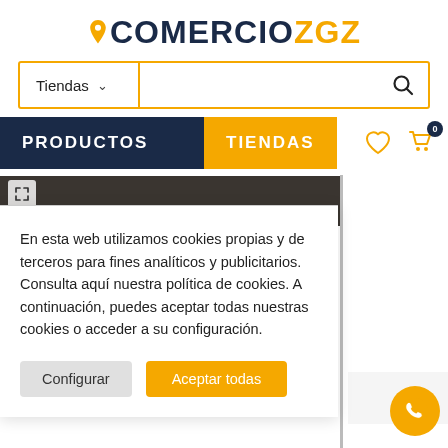[Figure (logo): ComerciozGZ logo with orange map pin icon, dark navy text 'COMERCIO' and orange text 'ZGZ']
[Figure (screenshot): Search bar with 'Tiendas' dropdown and magnifying glass icon, bordered in orange]
[Figure (screenshot): Navigation bar with dark navy 'PRODUCTOS' tab and orange 'TIENDAS' tab, with heart and cart icons on right]
En esta web utilizamos cookies propias y de terceros para fines analíticos y publicitarios. Consulta aquí nuestra política de cookies. A continuación, puedes aceptar todas nuestras cookies o acceder a su configuración.
[Figure (screenshot): Cookie consent buttons: 'Configurar' (grey) and 'Aceptar todas' (orange)]
[Figure (screenshot): Orange WhatsApp floating button at bottom right]